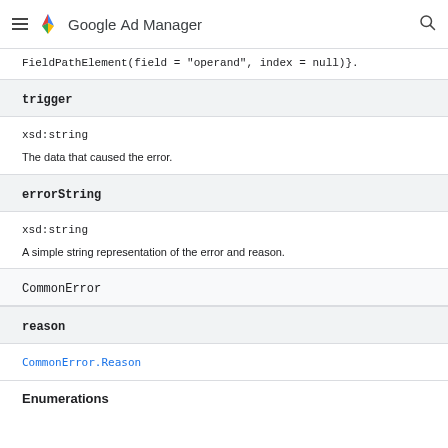Google Ad Manager
FieldPathElement(field = "operand", index = null)}.
trigger
xsd:string
The data that caused the error.
errorString
xsd:string
A simple string representation of the error and reason.
CommonError
reason
CommonError.Reason
Enumerations